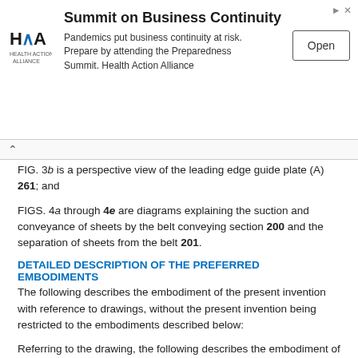[Figure (other): Advertisement banner for Summit on Business Continuity by Health Action Alliance, with HAA logo, text about pandemics, and an Open button]
FIG. 3b is a perspective view of the leading edge guide plate (A) 261; and
FIGS. 4a through 4e are diagrams explaining the suction and conveyance of sheets by the belt conveying section 200 and the separation of sheets from the belt 201.
DETAILED DESCRIPTION OF THE PREFERRED EMBODIMENTS
The following describes the embodiment of the present invention with reference to drawings, without the present invention being restricted to the embodiments described below:
Referring to the drawing, the following describes the embodiment of the present invention:
FIG. 1 is a diagram representing the image forming system formed by connecting an image forming apparatus to a sheet supply apparatus as an example of the embodiment of the present invention. The sheet supply apparatus LT in the image system shown in FIG. 1 is capable of storing a great number of sheets and feeds the stored sheets in synchronism with the